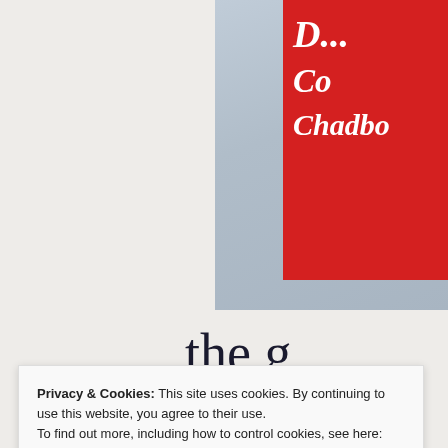[Figure (photo): Partial view of a red banner/flag with white italic text reading 'D... Co... Chadbo...' mounted on a pole against a gray sky background. The left portion of the page shows a light beige/gray background with no content.]
the g
GET THE
Privacy & Cookies: This site uses cookies. By continuing to use this website, you agree to their use.
To find out more, including how to control cookies, see here: Cookie Policy
Close and accept